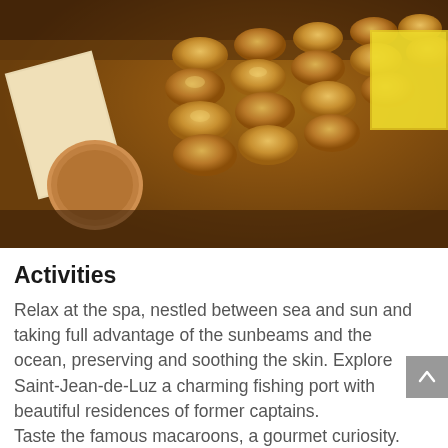[Figure (photo): Close-up photo of macaroons/pastries arranged in trays at a bakery, with warm golden-brown tones]
Activities
Relax at the spa, nestled between sea and sun and taking full advantage of the sunbeams and the ocean, preserving and soothing the skin. Explore Saint-Jean-de-Luz a charming fishing port with beautiful residences of former captains.
Taste the famous macaroons, a gourmet curiosity. In Saint-Jean-de-Luz, the Adam pastry shop continues the tradition of macaroons, which Louis XIV feasted on during his wedding ...